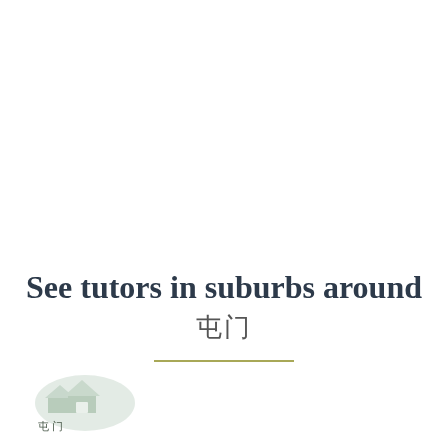See tutors in suburbs around 屯門
[Figure (illustration): House/map logo with Chinese characters 屯門 in bottom-left corner]